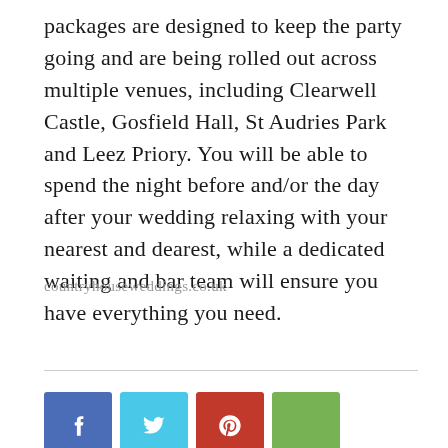packages are designed to keep the party going and are being rolled out across multiple venues, including Clearwell Castle, Gosfield Hall, St Audries Park and Leez Priory. You will be able to spend the night before and/or the day after your wedding relaxing with your nearest and dearest, while a dedicated waiting and bar team will ensure you have everything you need.
countryhouseweddings.co.uk
[Figure (other): Row of four social media share buttons: Facebook (blue with f icon), Twitter (light blue with bird icon), Pinterest (red with P icon), and a green button.]